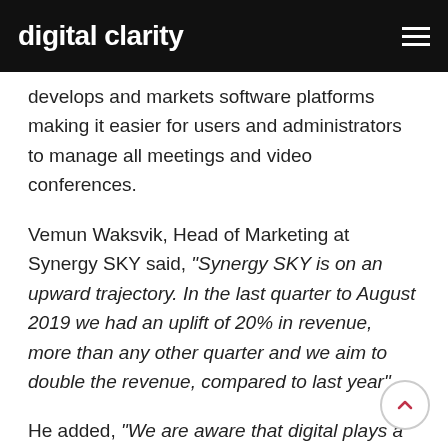digital clarity
develops and markets software platforms making it easier for users and administrators to manage all meetings and video conferences.
Vemun Waksvik, Head of Marketing at Synergy SKY said, “Synergy SKY is on an upward trajectory. In the last quarter to August 2019 we had an uplift of 20% in revenue, more than any other quarter and we aim to double the revenue, compared to last year”.
He added, “We are aware that digital plays a large part in the discovery process and we were searching for a company that could meet our ambitions and help us reach these business buyers